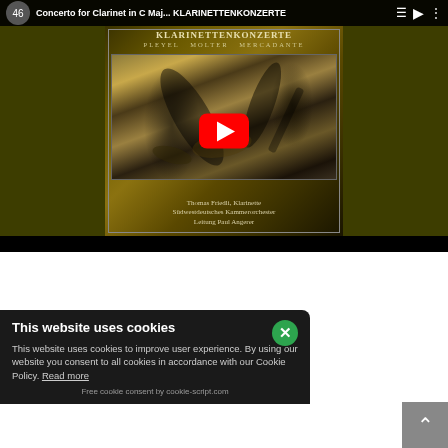[Figure (screenshot): YouTube video embed showing an album cover for 'Klarinettenkonzerte' by Pleyel, Molter, Mercadante, performed by Thomas Friedli (Klarinette), Südwestdeutsches Kammerorchester, conducted by Paul Angerer. The video thumbnail shows the album artwork with a red YouTube play button overlay.]
This website uses cookies
This website uses cookies to improve user experience. By using our website you consent to all cookies in accordance with our Cookie Policy. Read more
Free cookie consent by cookie-script.com